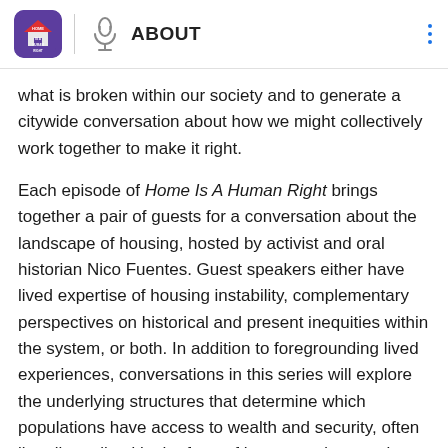ABOUT
what is broken within our society and to generate a citywide conversation about how we might collectively work together to make it right.
Each episode of Home Is A Human Right brings together a pair of guests for a conversation about the landscape of housing, hosted by activist and oral historian Nico Fuentes. Guest speakers either have lived expertise of housing instability, complementary perspectives on historical and present inequities within the system, or both. In addition to foregrounding lived experiences, conversations in this series will explore the underlying structures that determine which populations have access to wealth and security, often literally realized in the form of homes and properties, and which don't. These inequities exist by design: New York City was built on unequal foundations and continues to develop